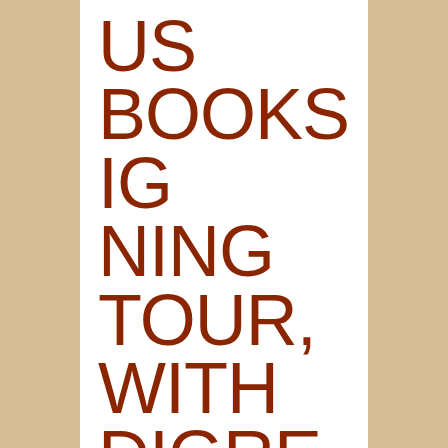US BOOKSIGNING TOUR, WITH DIGRESSIONS